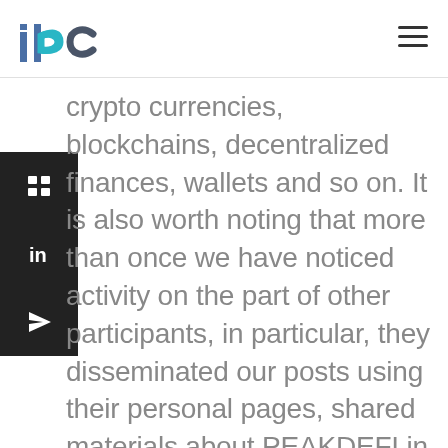IBC
crypto currencies, blockchains, decentralized finances, wallets and so on. It is also worth noting that more than once we have noticed activity on the part of other participants, in particular, they disseminated our posts using their personal pages, shared materials about PEAKDEFI in other subreddits. This trend is still actively maintained on Reddit. We